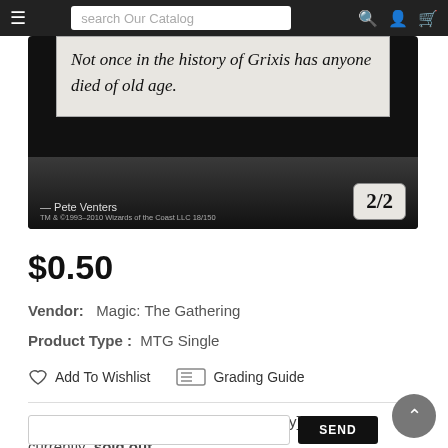search Our Catalog
[Figure (photo): Magic: The Gathering card (Infectious Horror from Archenemy) showing italic flavor text: 'Not once in the history of Grixis has anyone died of old age.' Artist: Pete Venters. TM & © 1993-2010 Wizards of the Coast LLC 18/150. Power/Toughness: 2/2.]
$0.50
Vendor:  Magic: The Gathering
Product Type :  MTG Single
Add To Wishlist    Grading Guide
Sorry! Our Infectious Horror [Archenemy] is currently sold out.